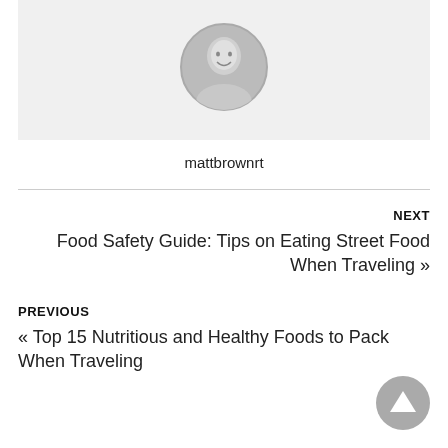[Figure (photo): Circular avatar photo of a man smiling, black and white]
mattbrownrt
NEXT
Food Safety Guide: Tips on Eating Street Food When Traveling »
PREVIOUS
« Top 15 Nutritious and Healthy Foods to Pack When Traveling